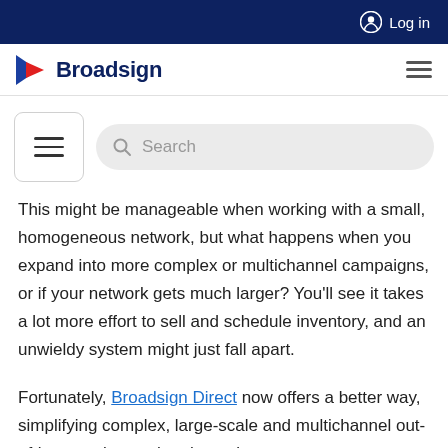Log in
Broadsign
[Figure (screenshot): Broadsign website header with hamburger menu and search bar]
This might be manageable when working with a small, homogeneous network, but what happens when you expand into more complex or multichannel campaigns, or if your network gets much larger? You'll see it takes a lot more effort to sell and schedule inventory, and an unwieldy system might just fall apart.
Fortunately, Broadsign Direct now offers a better way, simplifying complex, large-scale and multichannel out-of-home sales so that they take no